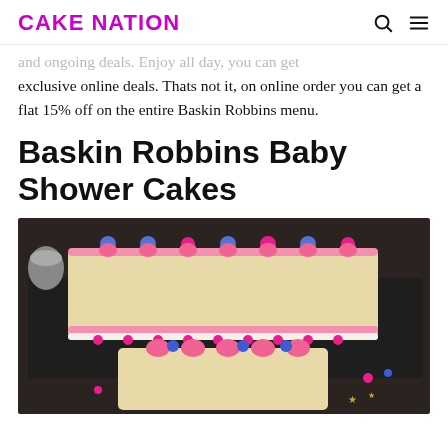CAKE NATION
exclusive online deals. Thats not it, on online order you can get a flat 15% off on the entire Baskin Robbins menu.
Baskin Robbins Baby Shower Cakes
[Figure (photo): Decorated sheet cakes with pink and blue frosting rosettes and sprinkles on a dark surface, styled for a baby shower.]